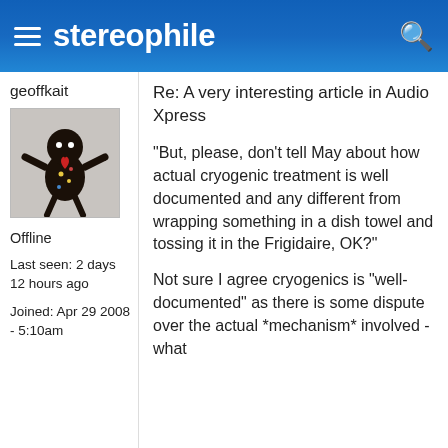stereophile
geoffkait
[Figure (photo): Avatar image of a voodoo doll figurine made of dark beaded material with arms outstretched, with a red heart detail]
Offline
Last seen: 2 days 12 hours ago
Joined: Apr 29 2008 - 5:10am
Re: A very interesting article in Audio Xpress
"But, please, don't tell May about how actual cryogenic treatment is well documented and any different from wrapping something in a dish towel and tossing it in the Frigidaire, OK?"
Not sure I agree cryogenics is "well-documented" as there is some dispute over the actual *mechanism* involved - what